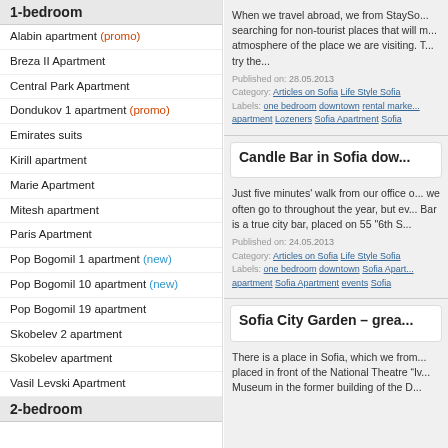1-bedroom
Alabin apartment (promo)
Breza II Apartment
Central Park Apartment
Dondukov 1 apartment (promo)
Emirates suits
Kirill apartment
Marie Apartment
Mitesh apartment
Paris Apartment
Pop Bogomil 1 apartment (new)
Pop Bogomil 10 apartment (new)
Pop Bogomil 19 apartment
Skobelev 2 apartment
Skobelev apartment
Vasil Levski Apartment
2-bedroom
When we travel abroad, we from StaySofia are always searching for non-tourist places that will make us feel the atmosphere of the place we are visiting. T... try the...
Published on: 28.05.2013
Category: Articles on Sofia Life Style Sofia
Labels: one bedroom downtown rental marke... apartment Lozeners Sofia Apartment Sofia
Candle Bar in Sofia dow...
Just five minutes' walk from our office o... we often go to throughout the year, but ev... Bar is a true city bar, placed on 55 “6th S...
Published on: 24.05.2013
Category: Articles on Sofia Life Style Sofia
Labels: one bedroom downtown Sofia Apart... apartment Sofia Apartment events Sofia
Sofia City Garden – grea...
There is a place in Sofia, which we from... placed in front of the National Theatre “Iv... Museum in the former building of the D...